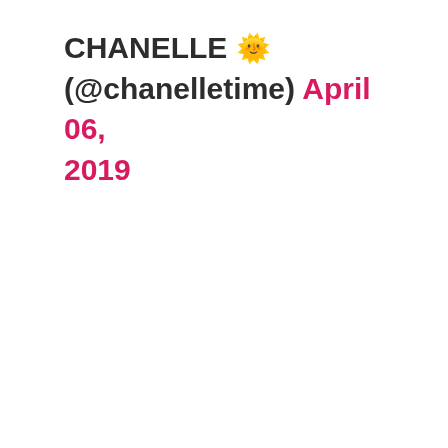CHANELLE 🌞 (@chanelletime) April 06, 2019